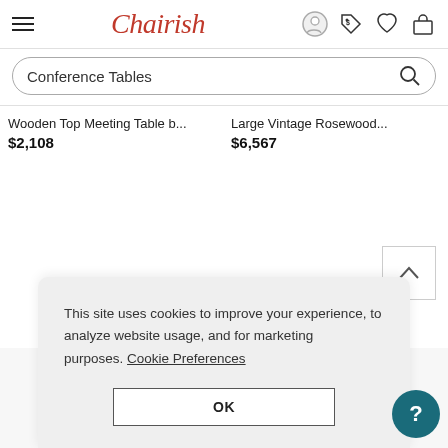Chairish — Conference Tables search page header with navigation icons
Conference Tables
Wooden Top Meeting Table b...
$2,108
Large Vintage Rosewood...
$6,567
This site uses cookies to improve your experience, to analyze website usage, and for marketing purposes. Cookie Preferences
OK